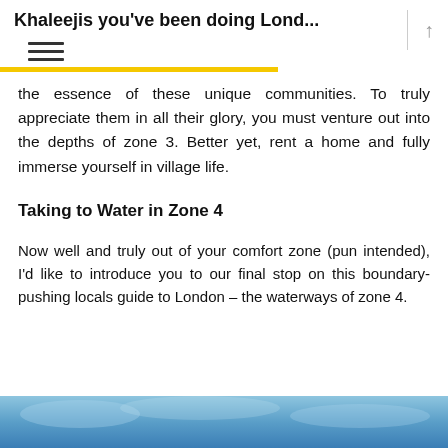Khaleejis you've been doing Lond...
the essence of these unique communities. To truly appreciate them in all their glory, you must venture out into the depths of zone 3. Better yet, rent a home and fully immerse yourself in village life.
Taking to Water in Zone 4
Now well and truly out of your comfort zone (pun intended), I'd like to introduce you to our final stop on this boundary-pushing locals guide to London – the waterways of zone 4.
[Figure (photo): Blue sky / water image strip at bottom of page]